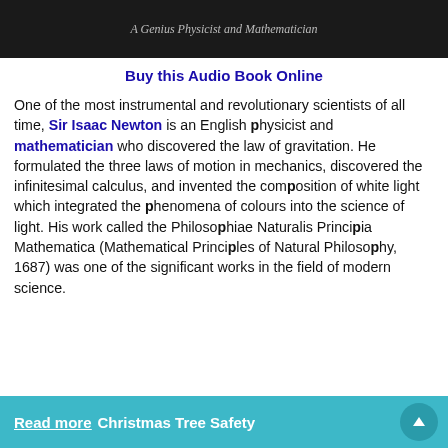[Figure (photo): Book cover image with text 'A Genius Physicist and Mathematician' on dark background]
Buy this Audio Book Online
One of the most instrumental and revolutionary scientists of all time, Sir Isaac Newton is an English physicist and mathematician who discovered the law of gravitation. He formulated the three laws of motion in mechanics, discovered the infinitesimal calculus, and invented the composition of white light which integrated the phenomena of colours into the science of light. His work called the Philosophiae Naturalis Principia Mathematica (Mathematical Principles of Natural Philosophy, 1687) was one of the significant works in the field of modern science.
Read more  Christmas Tree Safety